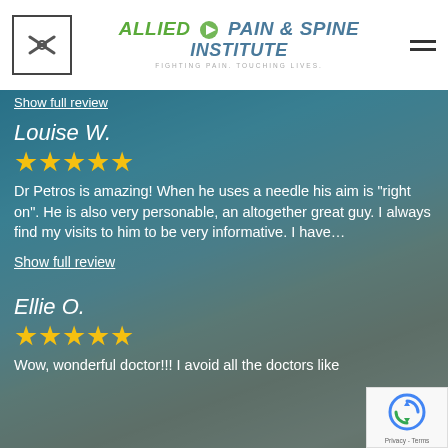[Figure (logo): Allied Pain & Spine Institute logo with green and blue text, tagline: Fighting Pain. Touching Lives.]
Show full review
Louise W.
★★★★★
Dr Petros is amazing!  When he uses a needle his aim is "right on".  He is also very personable, an altogether great guy.  I always find my visits to him to be very informative. I have…
Show full review
Ellie O.
★★★★★
Wow, wonderful doctor!!! I avoid all the doctors like
[Figure (other): reCAPTCHA badge with Privacy - Terms text]